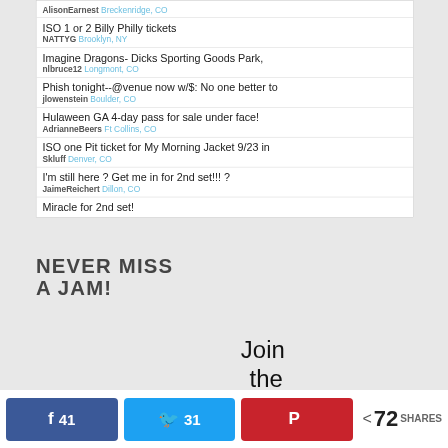AlisonEarnest Breckenridge, CO
ISO 1 or 2 Billy Philly tickets
NATTYG Brooklyn, NY
Imagine Dragons- Dicks Sporting Goods Park,
nlbruce12 Longmont, CO
Phish tonight--@venue now w/$: No one better to
jlowenstein Boulder, CO
Hulaween GA 4-day pass for sale under face!
AdrianneBeers Ft Collins, CO
ISO one Pit ticket for My Morning Jacket 9/23 in
Skluff Denver, CO
I'm still here ? Get me in for 2nd set!!! ?
JaimeReichert Dillon, CO
Miracle for 2nd set!
NEVER MISS A JAM!
Join the JamBuzz Family
41  31  72 SHARES